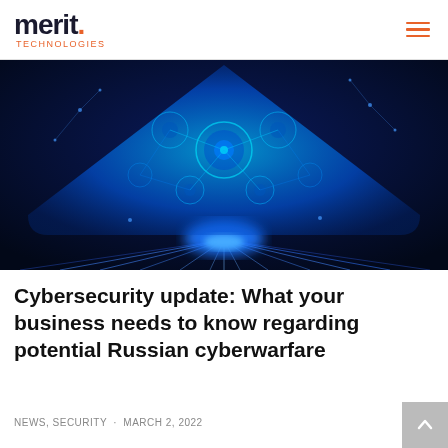merit. Technologies
[Figure (illustration): Digital cybersecurity illustration showing a glowing blue neural/circuit network shaped like an inverted triangle or shield on a dark navy background with rays of light emanating from the bottom center]
Cybersecurity update: What your business needs to know regarding potential Russian cyberwarfare
NEWS, SECURITY · MARCH 2, 2022